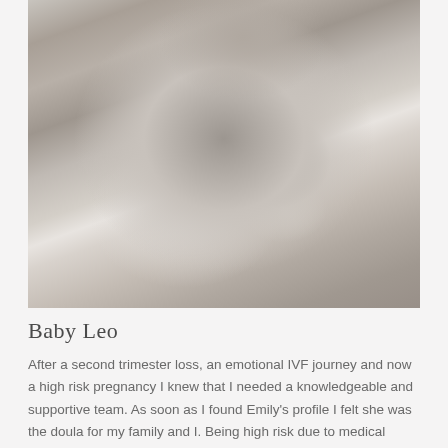[Figure (photo): A man in a light blue striped polo shirt with a Lacoste logo holds a newborn baby wrapped in white cloth with pink stripes. The man is looking down at the baby tenderly. The photo is taken indoors.]
Baby Leo
After a second trimester loss, an emotional IVF journey and now a high risk pregnancy I knew that I needed a knowledgeable and supportive team. As soon as I found Emily's profile I felt she was the doula for my family and I. Being high risk due to medical conditions our plans were always changing but Emily and Jessica were very flexible and supportive.